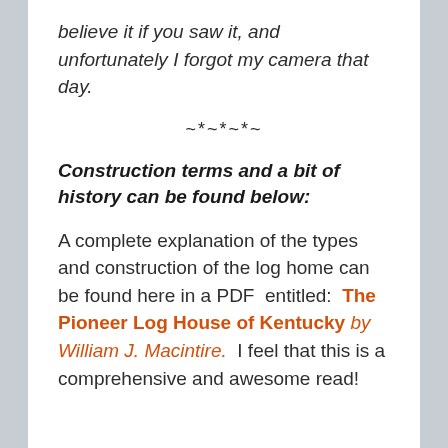believe it if you saw it, and unfortunately I forgot my camera that day.
~*~*~*~
Construction terms and a bit of history can be found below:
A complete explanation of the types and construction of the log home can be found here in a PDF  entitled:  The Pioneer Log House of Kentucky by William J. Macintire.  I feel that this is a comprehensive and awesome read!